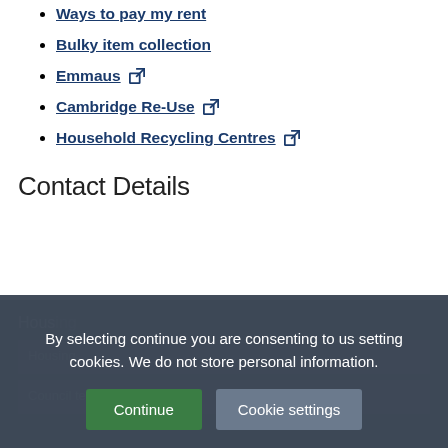Ways to pay my rent
Bulky item collection
Emmaus [external link]
Cambridge Re-Use [external link]
Household Recycling Centres [external link]
Contact Details
By selecting continue you are consenting to us setting cookies. We do not store personal information.